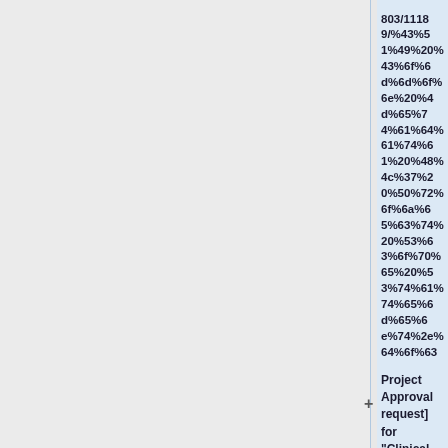803/11189/%43%51%49%20%43%6f%6d%6d%6f%6e%20%4d%65%74%61%64%61%74%61%20%48%4c%37%20%50%72%6f%6a%65%63%74%20%53%63%6f%70%65%20%53%74%61%74%65%6d%65%6e%74%2e%64%6f%63
Project Approval request] for "Clinical Quality Common Metadata" for CQI of DESD at [http://www.hl7.